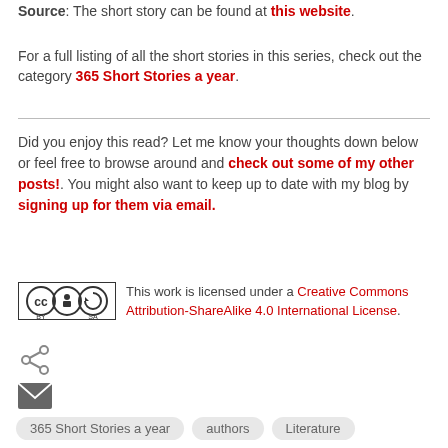Source: The short story can be found at this website.
For a full listing of all the short stories in this series, check out the category 365 Short Stories a year.
Did you enjoy this read? Let me know your thoughts down below or feel free to browse around and check out some of my other posts!. You might also want to keep up to date with my blog by signing up for them via email.
[Figure (other): Creative Commons BY-SA license badge]
This work is licensed under a Creative Commons Attribution-ShareAlike 4.0 International License.
[Figure (other): Share icon]
[Figure (other): Email icon]
365 Short Stories a year   authors   Literature